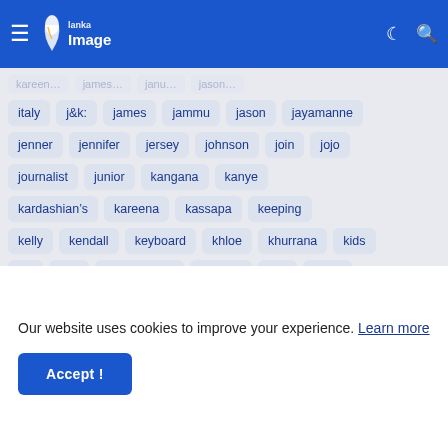Lanka Image — navigation bar with logo, hamburger menu, dark mode toggle, search
italy
j&k:
james
jammu
jason
jayamanne
jenner
jennifer
jersey
johnson
join
jojo
journalist
junior
kangana
kanye
kardashian&#8217;s
kareena
kassapa
keeping
kelly
kendall
keyboard
khloe
khurrana
kids
kill
kills
kiribathgoda
kishwer
kits
knew
kovind
kumar
kumudesh
labeouf
lakh
lands
large
laundering
lead
least
legally
liars
Our website uses cookies to improve your experience. Learn more
Accept !